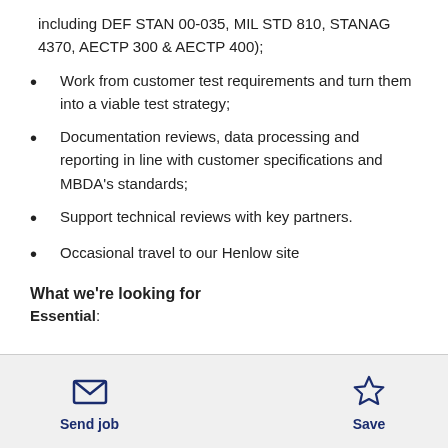including DEF STAN 00-035, MIL STD 810, STANAG 4370, AECTP 300 & AECTP 400);
Work from customer test requirements and turn them into a viable test strategy;
Documentation reviews, data processing and reporting in line with customer specifications and MBDA's standards;
Support technical reviews with key partners.
Occasional travel to our Henlow site
What we're looking for
Essential:
Send job | Save